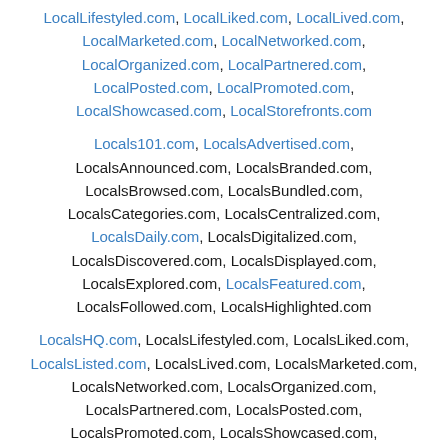LocalLifestyled.com, LocalLiked.com, LocalLived.com, LocalMarketed.com, LocalNetworked.com, LocalOrganized.com, LocalPartnered.com, LocalPosted.com, LocalPromoted.com, LocalShowcased.com, LocalStorefronts.com
Locals101.com, LocalsAdvertised.com, LocalsAnnounced.com, LocalsBranded.com, LocalsBrowsed.com, LocalsBundled.com, LocalsCategories.com, LocalsCentralized.com, LocalsDaily.com, LocalsDigitalized.com, LocalsDiscovered.com, LocalsDisplayed.com, LocalsExplored.com, LocalsFeatured.com, LocalsFollowed.com, LocalsHighlighted.com
LocalsHQ.com, LocalsLifestyled.com, LocalsLiked.com, LocalsListed.com, LocalsLived.com, LocalsMarketed.com, LocalsNetworked.com, LocalsOrganized.com, LocalsPartnered.com, LocalsPosted.com, LocalsPromoted.com, LocalsShowcased.com